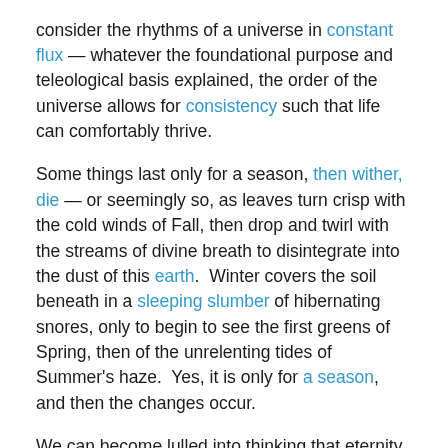consider the rhythms of a universe in constant flux — whatever the foundational purpose and teleological basis explained, the order of the universe allows for consistency such that life can comfortably thrive.
Some things last only for a season, then wither, die — or seemingly so, as leaves turn crisp with the cold winds of Fall, then drop and twirl with the streams of divine breath to disintegrate into the dust of this earth.  Winter covers the soil beneath in a sleeping slumber of hibernating snores, only to begin to see the first greens of Spring, then of the unrelenting tides of Summer's haze.  Yes, it is only for a season, and then the changes occur.
We can become lulled into thinking that eternity is the exception for our lives; that the artifice we build, of tall towers and endless miles of concrete roadways reflect the